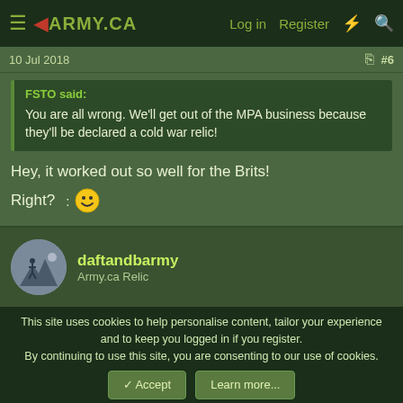4ARMY.CA — Log in   Register
10 Jul 2018   #6
FSTO said:
You are all wrong. We'll get out of the MPA business because they'll be declared a cold war relic!
Hey, it worked out so well for the Brits!

Right?   :🙂
daftandbarmy
Army.ca Relic
This site uses cookies to help personalise content, tailor your experience and to keep you logged in if you register.
By continuing to use this site, you are consenting to our use of cookies.